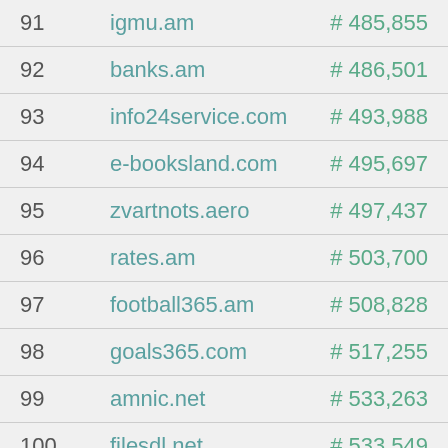| Rank | Domain | Alexa Rank |
| --- | --- | --- |
| 91 | igmu.am | # 485,855 |
| 92 | banks.am | # 486,501 |
| 93 | info24service.com | # 493,988 |
| 94 | e-booksland.com | # 495,697 |
| 95 | zvartnots.aero | # 497,437 |
| 96 | rates.am | # 503,700 |
| 97 | football365.am | # 508,828 |
| 98 | goals365.com | # 517,255 |
| 99 | amnic.net | # 533,263 |
| 100 | filesdl.net | # 533,549 |
| 101 | 1zwo.in | # 541,350 |
| 102 | book5download.com | # 542,782 |